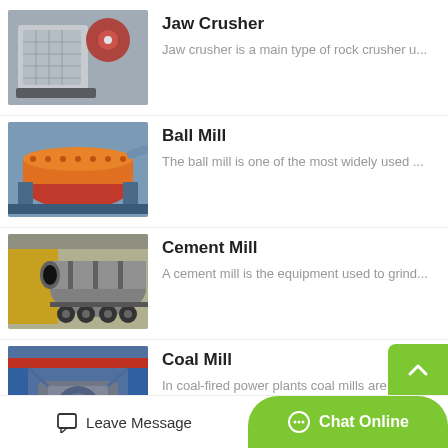[Figure (photo): Jaw crusher industrial machine in a factory setting]
Jaw Crusher
Jaw crusher is a main type of rock crusher u...
[Figure (photo): Ball mill industrial orange cylindrical machine]
Ball Mill
The ball mill is one of the most widely used ...
[Figure (photo): Cement mill large industrial cylindrical drum on trailer]
Cement Mill
A cement mill is the equipment used to grind...
[Figure (photo): Coal mill industrial machinery in a power plant]
Coal Mill
In coal-fired power plants coal mills are use...